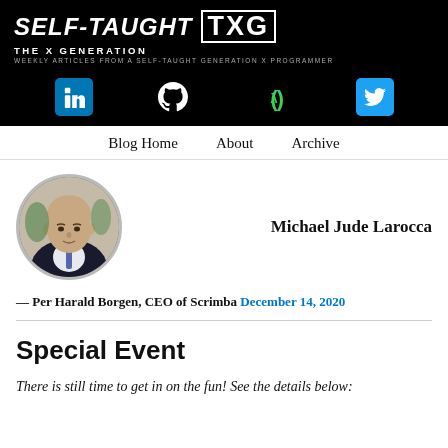[Figure (logo): Self-Taught TXG blog logo - white text on black background with tagline 'The X Generation' and 'Weekly Articles from a Self-Taught Generation X Programmer']
[Figure (infographic): Social media icons bar on black background: LinkedIn, GitHub, freeCodeCamp, Twitter]
Blog Home   About   Archive
[Figure (photo): Circular profile photo of Michael Jude Larocca, a bald man in a suit]
Michael Jude Larocca
— Per Harald Borgen, CEO of Scrimba December 14, 2020
Special Event
There is still time to get in on the fun! See the details below: